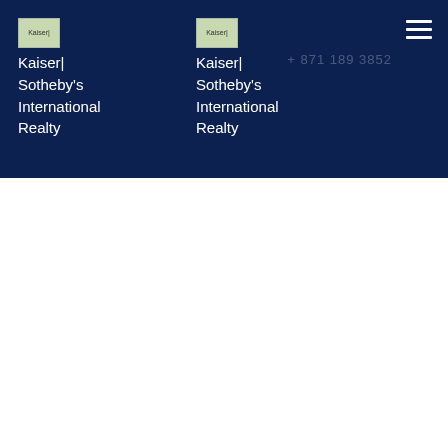Kaiser| Sotheby's International Realty (logo 1)
Kaiser| Sotheby's International Realty (logo 2)
[Figure (other): Hamburger menu icon (three horizontal white lines) in top right of dark navy header]
+ 871 189 3852 (phone number, faint)